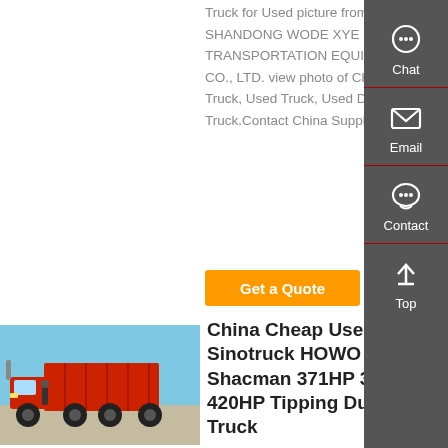Truck for Used picture from SHANDONG WODE XYE TRANSPORTATION EQUIPMENT CO., LTD. view photo of China Tipper Truck, Used Truck, Used Dump Truck.Contact China Supplier for More
Get a Quote
[Figure (photo): Red dump truck (Sinotruck HOWO Shacman) parked outdoors with blue sky background]
China Cheap Used Sinotruck HOWO Shacman 371HP 380HP 420HP Tipping Dump Truck